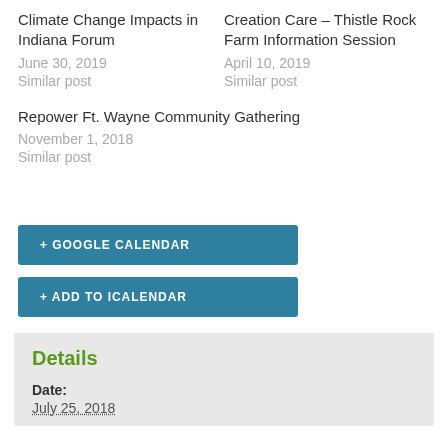Climate Change Impacts in Indiana Forum
June 30, 2019
Similar post
Creation Care – Thistle Rock Farm Information Session
April 10, 2019
Similar post
Repower Ft. Wayne Community Gathering
November 1, 2018
Similar post
+ GOOGLE CALENDAR
+ ADD TO ICALENDAR
Details
Date:
July 25, 2018